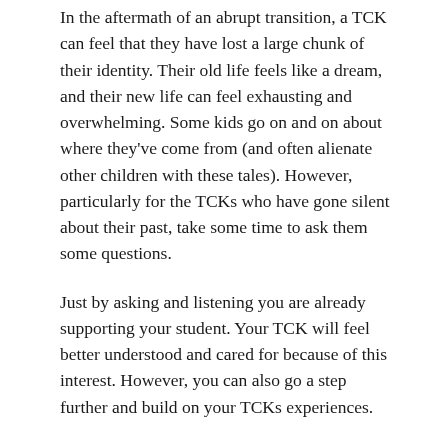In the aftermath of an abrupt transition, a TCK can feel that they have lost a large chunk of their identity. Their old life feels like a dream, and their new life can feel exhausting and overwhelming. Some kids go on and on about where they've come from (and often alienate other children with these tales). However, particularly for the TCKs who have gone silent about their past, take some time to ask them some questions.
Just by asking and listening you are already supporting your student. Your TCK will feel better understood and cared for because of this interest. However, you can also go a step further and build on your TCKs experiences.
Consider involving your TCK student in teaching others about their passport country or places they’ve previously lived. Design some classroom activities